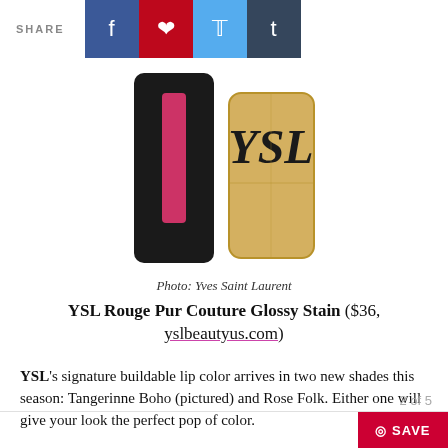SHARE
[Figure (photo): Two YSL lip product containers side by side: a black matte lipstick tube with pink/red swatch visible, and a gold compact with the YSL monogram logo in black.]
Photo: Yves Saint Laurent
YSL Rouge Pur Couture Glossy Stain ($36, yslbeautyus.com)
YSL's signature buildable lip color arrives in two new shades this season: Tangerinne Boho (pictured) and Rose Folk. Either one will give your look the perfect pop of color.
2 of 5